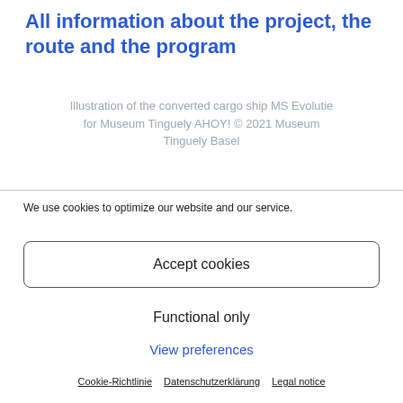All information about the project, the route and the program
Illustration of the converted cargo ship MS Evolutie for Museum Tinguely AHOY! © 2021 Museum Tinguely Basel
We use cookies to optimize our website and our service.
Accept cookies
Functional only
View preferences
Cookie-Richtlinie   Datenschutzerklärung   Legal notice